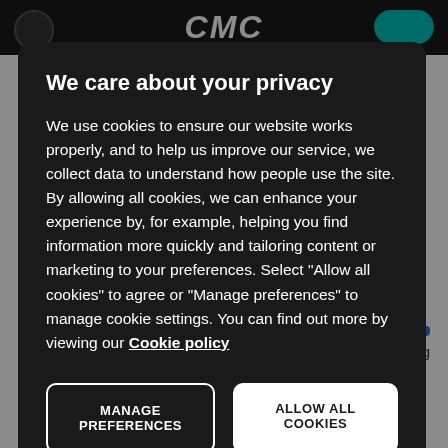We care about your privacy
We use cookies to ensure our website works properly, and to help us improve our service, we collect data to understand how people use the site. By allowing all cookies, we can enhance your experience by, for example, helping you find information more quickly and tailoring content or marketing to your preferences. Select “Allow all cookies” to agree or “Manage preferences” to manage cookie settings. You can find out more by viewing our Cookie policy
MANAGE PREFERENCES
ALLOW ALL COOKIES
Client sentiment
17% Short
83% Long
Germany 40 - Cash  ▲ 175pts 013% - Dau